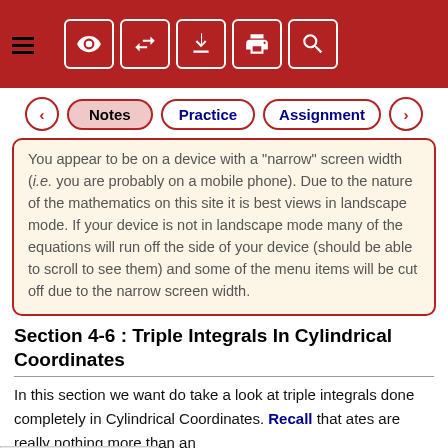[Figure (screenshot): Red toolbar with hamburger menu icon on left and five icon buttons (eye, arrows, download, print, search) in white-bordered boxes]
[Figure (screenshot): Navigation tabs row with left/right arrows and three tabs: Notes (highlighted), Practice, Assignment]
You appear to be on a device with a 'narrow' screen width (i.e. you are probably on a mobile phone). Due to the nature of the mathematics on this site it is best views in landscape mode. If your device is not in landscape mode many of the equations will run off the side of your device (should be able to scroll to see them) and some of the menu items will be cut off due to the narrow screen width.
Section 4-6 : Triple Integrals In Cylindrical Coordinates
In this section we want do take a look at triple integrals done completely in Cylindrical Coordinates. Recall that ates are really nothing more than an
Processing math: 100%